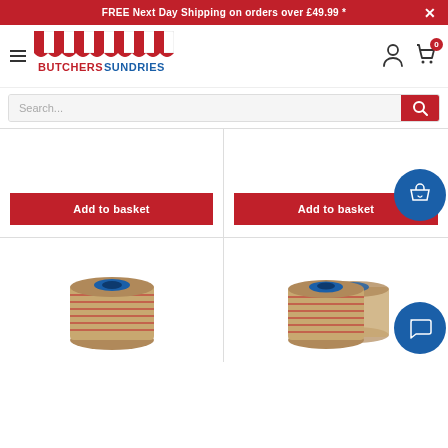FREE Next Day Shipping on orders over £49.99 *
[Figure (logo): Butchers Sundries logo with striped awning and brand name]
Search...
Add to basket
Add to basket
[Figure (photo): Spool of red and white butcher's twine string]
[Figure (photo): Spool of red and white butcher's twine string (second variant)]